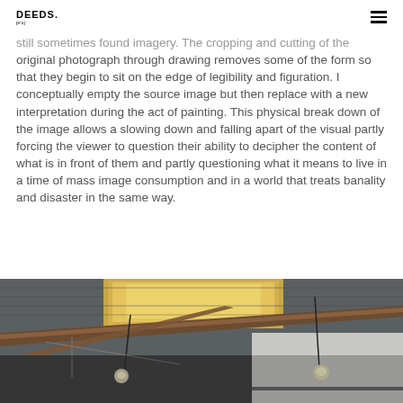DEEDS.
still sometimes found imagery. The cropping and cutting of the original photograph through drawing removes some of the form so that they begin to sit on the edge of legibility and figuration. I conceptually empty the source image but then replace with a new interpretation during the act of painting. This physical break down of the image allows a slowing down and falling apart of the visual partly forcing the viewer to question their ability to decipher the content of what is in front of them and partly questioning what it means to live in a time of mass image consumption and in a world that treats banality and disaster in the same way.
[Figure (photo): Interior photograph of a warehouse or studio space looking up at the ceiling. Visible are metal roof trusses, wooden beams, corrugated metal roofing with a skylight or translucent panel glowing with warm light, hanging light bulbs/pendants, and a white wall in the background.]